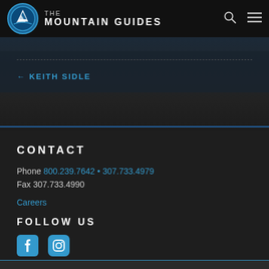THE MOUNTAIN GUIDES
← KEITH SIDLE
CONTACT
Phone 800.239.7642 • 307.733.4979
Fax 307.733.4990
Careers
FOLLOW US
[Figure (logo): Facebook and Instagram social media icons in blue]